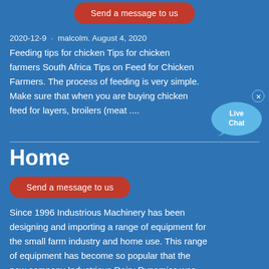Send a message to us
2020-12-9 · malcolm. August 4, 2020
Feeding tips for chicken Tips for chicken farmers South Africa Tips on Feed for Chicken Farmers. The process of feeding is very simple. Make sure that when you are buying chicken feed for layers, broilers (meat ....
[Figure (other): Live Chat button/bubble widget in the top-right area]
Home
Send a message to us
Since 1996 Industrious Machinery has been designing and importing a range of equipment for the small farm industry and home use. This range of equipment has become so popular that the new company Industrious Dairy Dynamics was brought into existence to service this fast-growing